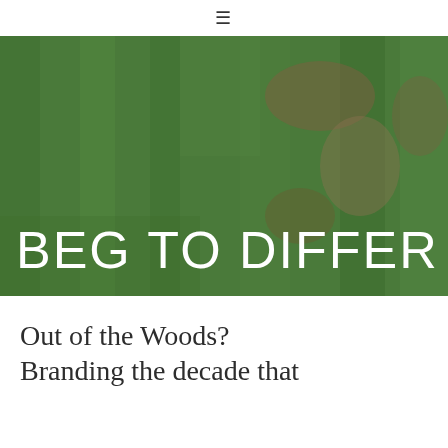≡
[Figure (photo): Close-up aerial/top-down photo of green grass with brown patches and lighter striping, with large white text 'BEG TO DIFFER' overlaid at the bottom]
Out of the Woods? Branding the decade that